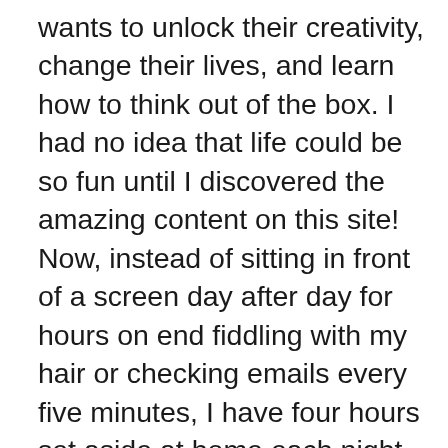wants to unlock their creativity, change their lives, and learn how to think out of the box. I had no idea that life could be so fun until I discovered the amazing content on this site! Now, instead of sitting in front of a screen day after day for hours on end fiddling with my hair or checking emails every five minutes, I have four hours set aside at home each night where I can explore new ideas, learn about developing skills or growing as a person–all while connecting with myself. Highly recommend if you want to live more meaningfully without sacrificing too much time.